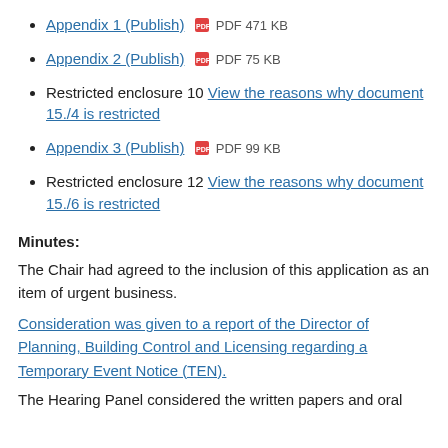Appendix 1 (Publish) PDF 471 KB
Appendix 2 (Publish) PDF 75 KB
Restricted enclosure 10 View the reasons why document 15./4 is restricted
Appendix 3 (Publish) PDF 99 KB
Restricted enclosure 12 View the reasons why document 15./6 is restricted
Minutes:
The Chair had agreed to the inclusion of this application as an item of urgent business.
Consideration was given to a report of the Director of Planning, Building Control and Licensing regarding a Temporary Event Notice (TEN).
The Hearing Panel considered the written papers and oral